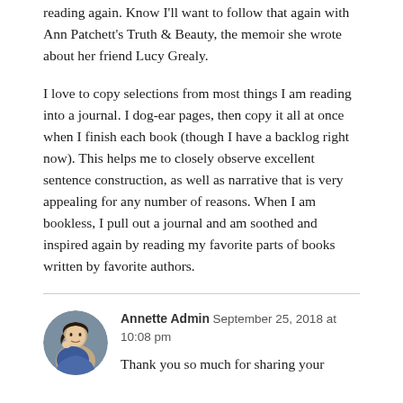reading again. Know I'll want to follow that again with Ann Patchett's Truth & Beauty, the memoir she wrote about her friend Lucy Grealy.
I love to copy selections from most things I am reading into a journal. I dog-ear pages, then copy it all at once when I finish each book (though I have a backlog right now). This helps me to closely observe excellent sentence construction, as well as narrative that is very appealing for any number of reasons. When I am bookless, I pull out a journal and am soothed and inspired again by reading my favorite parts of books written by favorite authors.
Annette Admin  September 25, 2018 at 10:08 pm
Thank you so much for sharing your